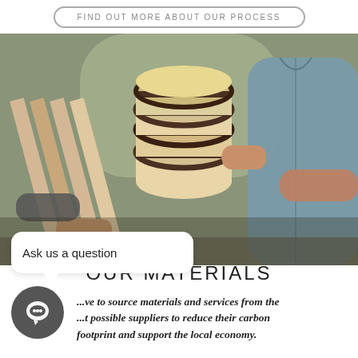FIND OUT MORE ABOUT OUR PROCESS
[Figure (photo): Two people working with layered wood in a workshop; one holds a cylindrical stack of laminated wood pieces while another handles wooden planks in the background.]
Ask us a question
OUR MATERIALS
...ve to source materials and services from the ...t possible suppliers to reduce their carbon footprint and support the local economy.